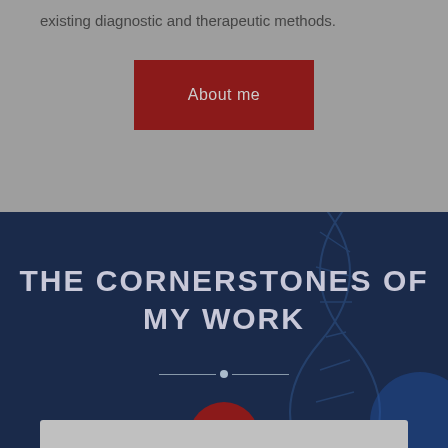existing diagnostic and therapeutic methods.
[Figure (other): Dark red button labeled 'About me' on gray background]
[Figure (photo): Dark navy blue background with DNA helix imagery, showing 'THE CORNERSTONES OF MY WORK' title, a horizontal divider with center dot, a red circular lightbulb icon, and a gray bar at the bottom]
THE CORNERSTONES OF MY WORK